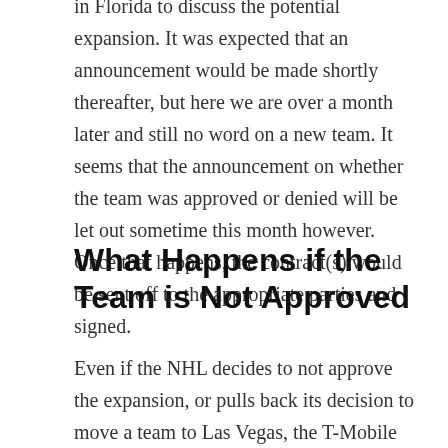in Florida to discuss the potential expansion. It was expected that an announcement would be made shortly thereafter, but here we are over a month later and still no word on a new team. It seems that the announcement on whether the team was approved or denied will be let out sometime this month however. Once that happens, the contract(s) would be sent off to the appropriate parties and signed.
What Happens if the Team is Not Approved
Even if the NHL decides to not approve the expansion, or pulls back its decision to move a team to Las Vegas, the T-Mobile Arena will still serve a purpose and would likely generate huge revenues. Currently, it is the only